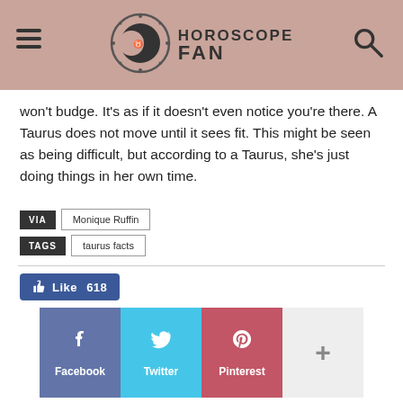HOROSCOPE FAN
won't budge. It's as if it doesn't even notice you're there. A Taurus does not move until it sees fit. This might be seen as being difficult, but according to a Taurus, she's just doing things in her own time.
VIA  Monique Ruffin
TAGS  taurus facts
Like 618
Facebook  Twitter  Pinterest